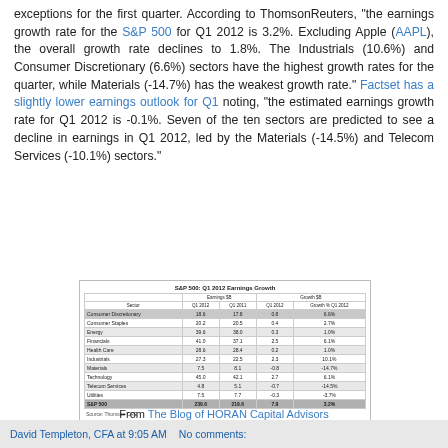exceptions for the first quarter. According to ThomsonReuters, "the earnings growth rate for the S&P 500 for Q1 2012 is 3.2%. Excluding Apple (AAPL), the overall growth rate declines to 1.8%. The Industrials (10.6%) and Consumer Discretionary (6.6%) sectors have the highest growth rates for the quarter, while Materials (-14.7%) has the weakest growth rate." Factset has a slightly lower earnings outlook for Q1 noting, "the estimated earnings growth rate for Q1 2012 is -0.1%. Seven of the ten sectors are predicted to see a decline in earnings in Q1 2012, led by the Materials (-14.5%) and Telecom Services (-10.1%) sectors."
[Figure (table-as-image): S&P 500: Q1 2012 Earnings Growth table showing Earnings $B Q1 2012, Earnings $B Q1 2011, Growth $B Q1 2012, Growth % Q1 2012 for sectors: Consumer Discretionary, Consumer Staples, Energy, Financials, Health Care, Industrials, Materials, Technology, Telecom Services, Utilities, S&P 500]
From The Blog of HORAN Capital Advisors
David Templeton, CFA at 9:05 AM    No comments: